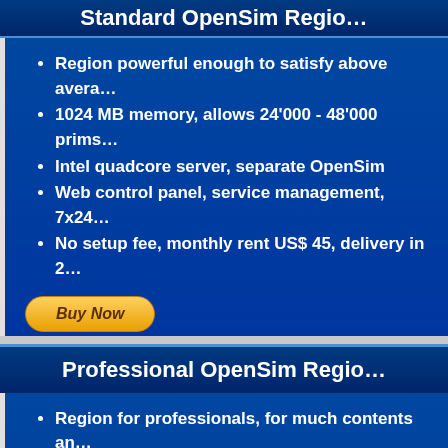Standard OpenSim Regio…
Region powerful enough to satisfy above avera…
1024 MB memory, allows 24'000 - 48'000 prims…
Intel quadcore server, separate OpenSim
Web control panel, service management, 7x24…
No setup fee, monthly rent US$ 45, delivery in 2…
Professional OpenSim Regio…
Region for professionals, for much contents an…
2048 MB memory, allows 48'000 - 96'000 prims…
Intel quadcore server, separate OpenSim
Web control panel, service management, 7x24…
No setup fee, monthly rent US$ 90, delivery in 2…